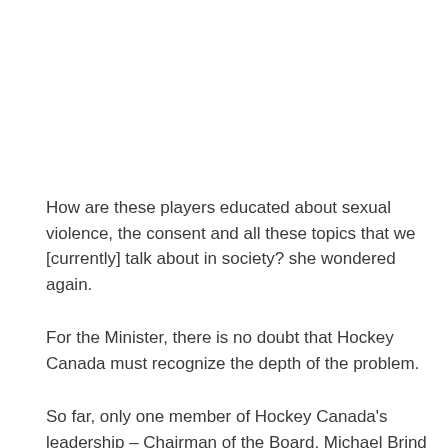How are these players educated about sexual violence, the consent and all these topics that we [currently] talk about in society? she wondered again.
For the Minister, there is no doubt that Hockey Canada must recognize the depth of the problem.
So far, only one member of Hockey Canada's leadership – Chairman of the Board, Michael Brind Amour – has resigned.